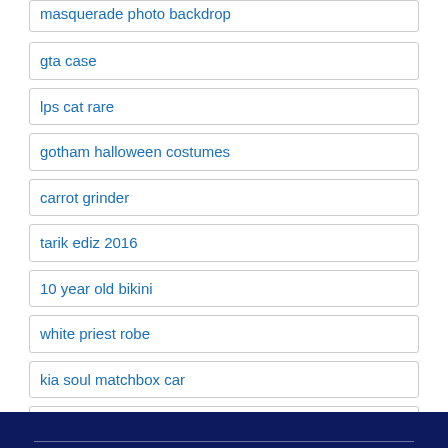masquerade photo backdrop
gta case
lps cat rare
gotham halloween costumes
carrot grinder
tarik ediz 2016
10 year old bikini
white priest robe
kia soul matchbox car
hulk stickers for car
tie tack clutch